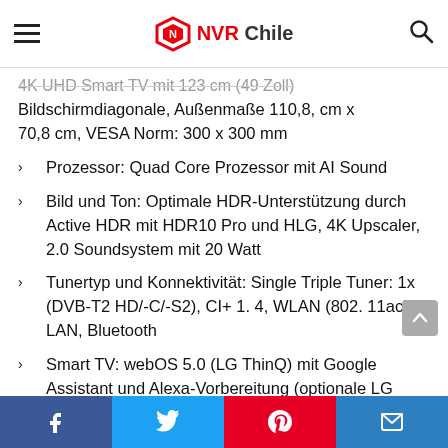NVR Chile
4K UHD Smart TV mit 123 cm (49 Zoll) Bildschirmdiagonale, Außenmaße 110,8, cm x 70,8 cm, VESA Norm: 300 x 300 mm
Prozessor: Quad Core Prozessor mit AI Sound
Bild und Ton: Optimale HDR-Unterstützung durch Active HDR mit HDR10 Pro und HLG, 4K Upscaler, 2.0 Soundsystem mit 20 Watt
Tunertyp und Konnektivität: Single Triple Tuner: 1x (DVB-T2 HD/-C/-S2), CI+ 1. 4, WLAN (802. 11ac), LAN, Bluetooth
Smart TV: webOS 5.0 (LG ThinQ) mit Google Assistant und Alexa-Vorbereitung (optionale LG Magic Remote Fernbedienung erforderlich), Apple
Facebook Twitter Pinterest Email